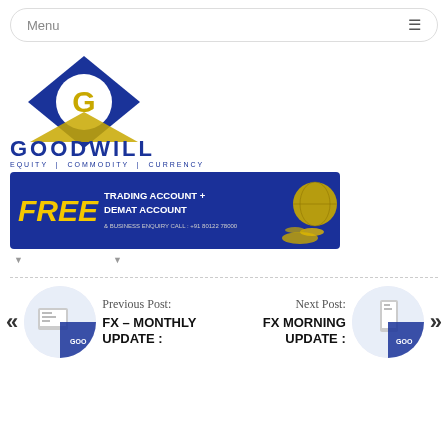Menu
[Figure (logo): Goodwill logo with diamond shape and G letter, with text GOODWILL EQUITY | COMMODITY | CURRENCY]
[Figure (infographic): Banner: FREE TRADING ACCOUNT + DEMAT ACCOUNT & BUSINESS ENQUIRY CALL: +91 80122 78000, with globe and gold coins image]
Previous Post:
[Figure (photo): Thumbnail image of a laptop with Goodwill branding]
FX – MONTHLY UPDATE :
Next Post:
[Figure (photo): Thumbnail image of a mobile phone with Goodwill branding]
FX MORNING UPDATE :